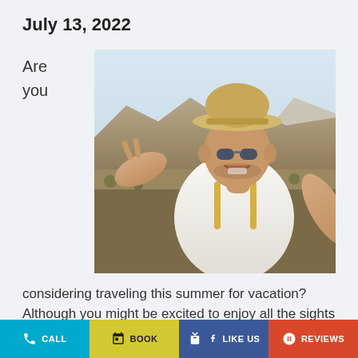July 13, 2022
Are you
[Figure (photo): A smiling man wearing a straw hat and sunglasses taking a selfie outdoors in a rocky desert landscape, wearing a white t-shirt and backpack, making a peace sign with one hand.]
considering traveling this summer for vacation? Although you might be excited to enjoy all the sights and delicious foods, the last thing you'd want to experience is a
CALL  BOOK  LIKE US  REVIEWS